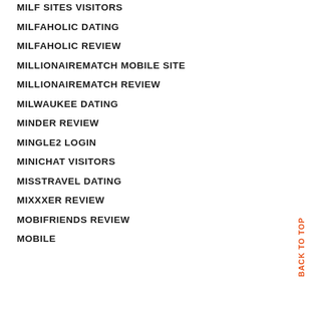MILF SITES VISITORS
MILFAHOLIC DATING
MILFAHOLIC REVIEW
MILLIONAIREMATCH MOBILE SITE
MILLIONAIREMATCH REVIEW
MILWAUKEE DATING
MINDER REVIEW
MINGLE2 LOGIN
MINICHAT VISITORS
MISSTRAVEL DATING
MIXXXER REVIEW
MOBIFRIENDS REVIEW
MOBILE